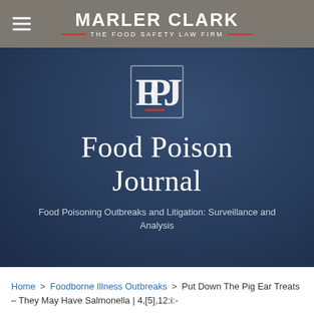MARLER CLARK — THE FOOD SAFETY LAW FIRM
[Figure (logo): FPJ monogram logo — stylized letters F, P, J interlinked in white with a red underline accent, on dark blue background]
Food Poison Journal
Food Poisoning Outbreaks and Litigation: Surveillance and Analysis
Home > Foodborne Illness Outbreaks > Put Down The Pig Ear Treats – They May Have Salmonella | 4,[5],12:i:-